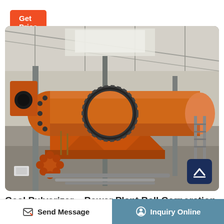Get Price
[Figure (photo): Large industrial coal pulverizer / rotary ball mill machine in an orange/rust color, mounted on support frames inside a large factory/warehouse building with steel roof structure visible in background.]
Coal Pulverizer – Power Plant Ball Corporation
Send Message
Inquiry Online